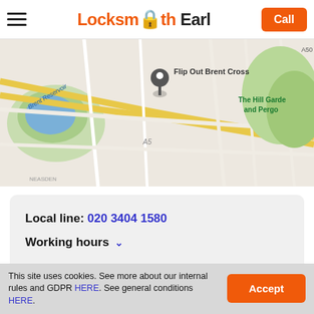Locksmith Earl — Call
[Figure (map): Google Maps screenshot showing Brent Reservoir area in London, with a location pin near Flip Out Brent Cross. Roads and green areas visible. Labels include 'Brent Reservoir', 'Flip Out Brent Cross', 'The Hill Garden and Pergola', 'A50'.]
Local line: 020 3404 1580
Working hours ∨
This site uses cookies. See more about our internal rules and GDPR HERE. See general conditions HERE.